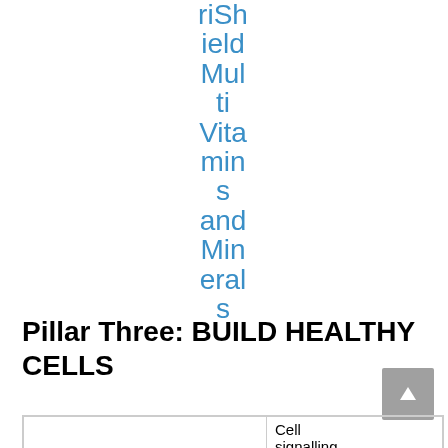riShield MultiVitamins and Minerals
Pillar Three: BUILD HEALTHY CELLS
|  | Cell signalling |